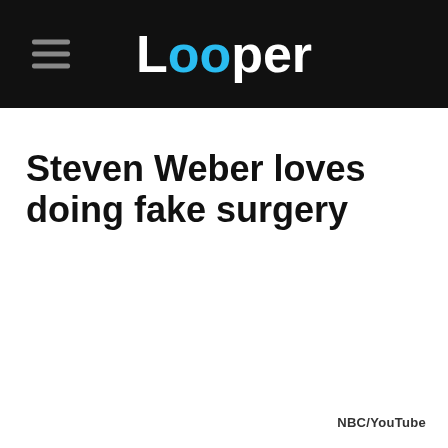Looper
Steven Weber loves doing fake surgery
NBC/YouTube